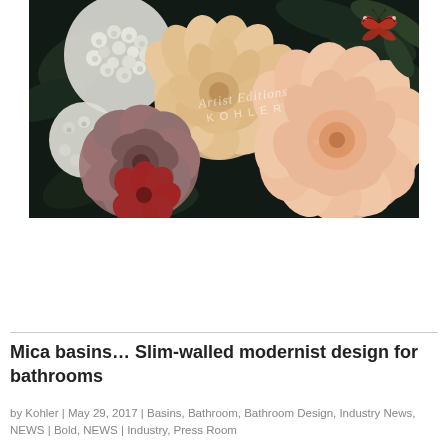[Figure (photo): Dark floral arrangement with white hydrangeas, peach dahlias, mauve roses, red rose, large pale peach peonies, green leaves, and a red admiral butterfly on black background. Kohler branding watermark visible in center.]
Mica basins… Slim-walled modernist design for bathrooms
by Kohler | May 29, 2017 | Basins, Bathroom, Bathroom Design, Industry News, NEWS | Bold, NEWS | Industry, Press Room